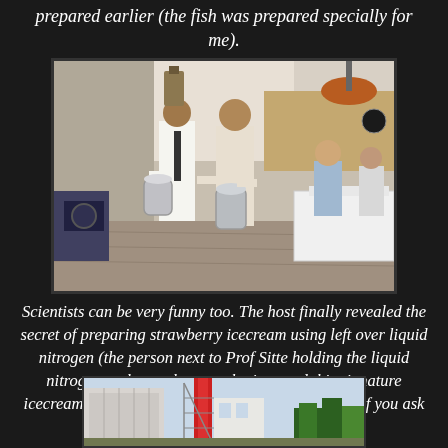prepared earlier (the fish was prepared specially for me).
[Figure (photo): Indoor restaurant scene with people standing and holding liquid nitrogen containers, others seated at tables with white tablecloths]
Scientists can be very funny too. The host finally revealed the secret of preparing strawberry icecream using left over liquid nitrogen (the person next to Prof Sitte holding the liquid nitrogen tank was the one who invented this signature icecream). The taste was as good as Haagen Daaz if you ask me.
[Figure (photo): Outdoor scene with buildings and trees, partially visible at bottom of page]